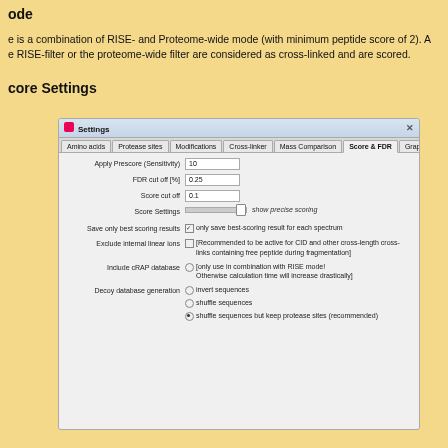ode
e is a combination of RISE- and Proteome-wide mode (with minimum peptide score of 2). A
e RISE-filter or the proteome-wide filter are considered as cross-linked and are scored.
core Settings
[Figure (screenshot): Settings window showing the Score & FDR tab with fields: Apply Prescore (Sensitivity): 10, FDR cut off [%]: 0.25, Score cut off: 0.1, Score Settings slider with 'show precise scoring' label, Save only best scoring results checkbox (only save best-scoring result for each spectrum), Exclude internal linear ions checkbox (recommended to be active for CID and other cross-length cross-links containing free peptide during fragmentation), Include cRAP database radio (only use in combination with RISE mode! Otherwise calculation time will increase drastically), Decoy database generation radio options: invert sequences / shuffle sequences / shuffle sequences but keep protease sites (recommended)]